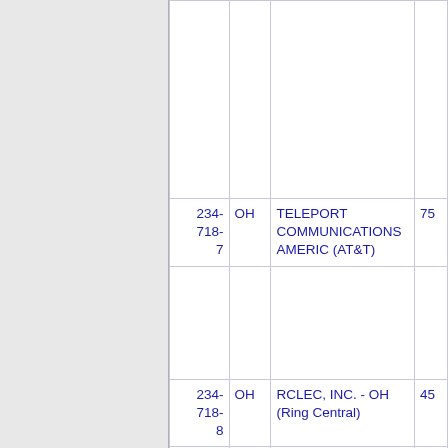| NPA | State | Company Name | Number |
| --- | --- | --- | --- |
|  |  |  |  |
| 234-718-7 | OH | TELEPORT COMMUNICATIONS AMERIC (AT&T) | 75 |
|  |  |  |  |
| 234-718-8 | OH | RCLEC, INC. - OH (Ring Central) | 45 |